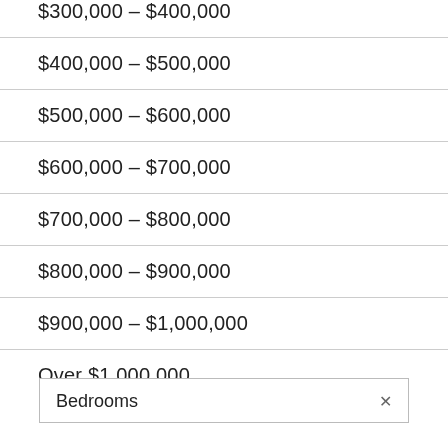$300,000 – $400,000
$400,000 – $500,000
$500,000 – $600,000
$600,000 – $700,000
$700,000 – $800,000
$800,000 – $900,000
$900,000 – $1,000,000
Over $1,000,000
| Bedrooms |
| --- |